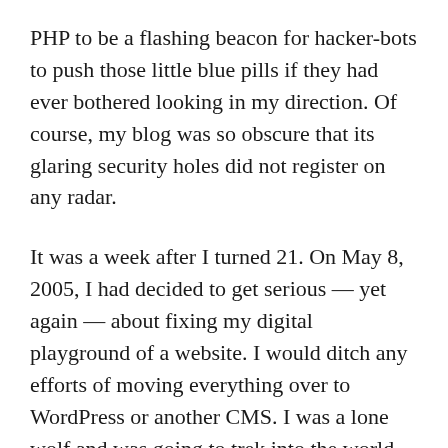PHP to be a flashing beacon for hacker-bots to push those little blue pills if they had ever bothered looking in my direction. Of course, my blog was so obscure that its glaring security holes did not register on any radar.
It was a week after I turned 21. On May 8, 2005, I had decided to get serious — yet again — about fixing my digital playground of a website. I would ditch any efforts of moving everything over to WordPress or another CMS. I was a lone wolf and was going to trek into the world wild web with nothing but my existing knowledge and instincts.
It was a fun era on the web for me. I was also a college student with an ever-changing list of